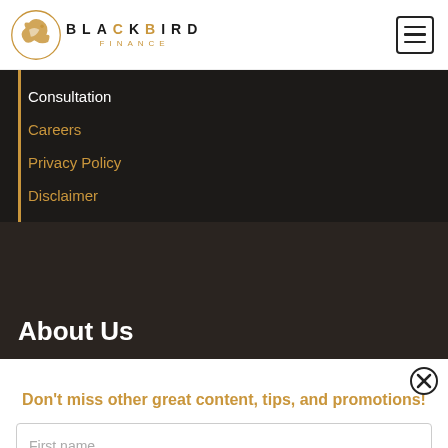[Figure (logo): Blackbird Finance logo with stylized bird icon and text BLACKBIRD FINANCE]
Consultation
Careers
Privacy Policy
Disclaimer
About Us
Don't miss other great content, tips, and promotions!
First name